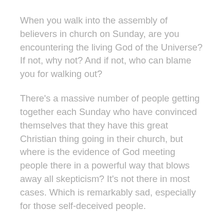When you walk into the assembly of believers in church on Sunday, are you encountering the living God of the Universe? If not, why not? And if not, who can blame you for walking out?
There's a massive number of people getting together each Sunday who have convinced themselves that they have this great Christian thing going in their church, but where is the evidence of God meeting people there in a powerful way that blows away all skepticism? It's not there in most cases. Which is remarkably sad, especially for those self-deceived people.
Some people don't like Leonard Ravenhill, but I have to keep going back to what he said: You never have to advertise a fire.